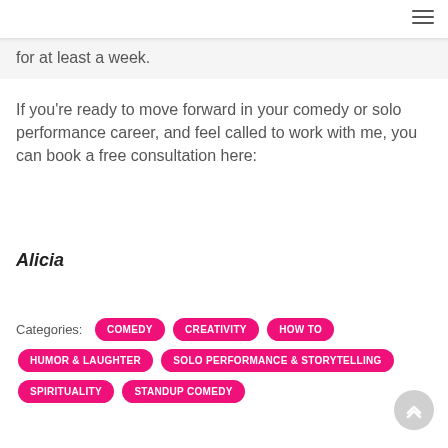for at least a week.
If you're ready to move forward in your comedy or solo performance career, and feel called to work with me, you can book a free consultation here:
Alicia
Categories: COMEDY   CREATIVITY   HOW TO   HUMOR & LAUGHTER   SOLO PERFORMANCE & STORYTELLING   SPIRITUALITY   STANDUP COMEDY